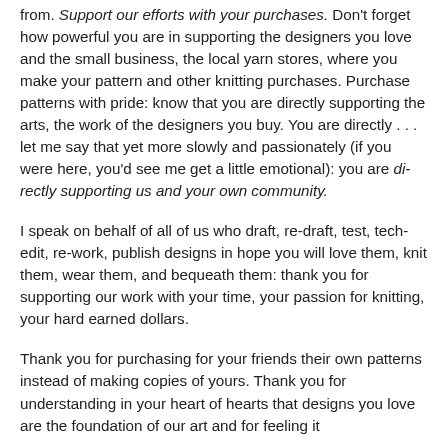from. Support our efforts with your purchases. Don't forget how powerful you are in supporting the designers you love and the small business, the local yarn stores, where you make your pattern and other knitting purchases. Purchase patterns with pride: know that you are directly supporting the arts, the work of the designers you buy. You are directly . . . let me say that yet more slowly and passionately (if you were here, you'd see me get a little emotional): you are di-rectly supporting us and your own community.
I speak on behalf of all of us who draft, re-draft, test, tech-edit, re-work, publish designs in hope you will love them, knit them, wear them, and bequeath them: thank you for supporting our work with your time, your passion for knitting, your hard earned dollars.
Thank you for purchasing for your friends their own patterns instead of making copies of yours. Thank you for understanding in your heart of hearts that designs you love are the foundation of our art and for feeling it